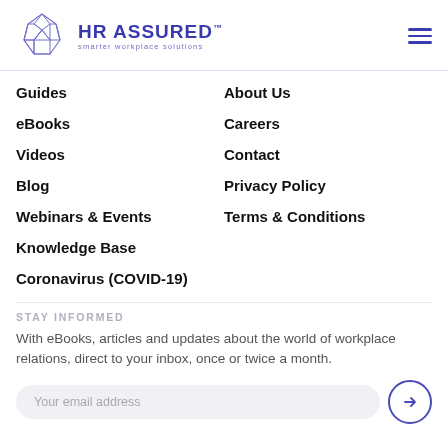[Figure (logo): HR Assured logo — geometric elephant polygon on the left, bold 'HR ASSURED' text with 'smarter workplace solutions' subtitle in purple/indigo]
Guides
eBooks
Videos
Blog
Webinars & Events
Knowledge Base
Coronavirus (COVID-19)
About Us
Careers
Contact
Privacy Policy
Terms & Conditions
STAY INFORMED
With eBooks, articles and updates about the world of workplace relations, direct to your inbox, once or twice a month.